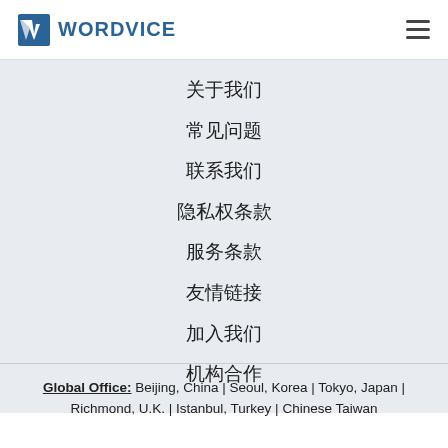WORDVICE
关于我们
常见问题
联系我们
隐私权条款
服务条款
友情链接
加入我们
机构合作
Global Office: Beijing, China | Seoul, Korea | Tokyo, Japan | Richmond, U.K. | Istanbul, Turkey | Chinese Taiwan